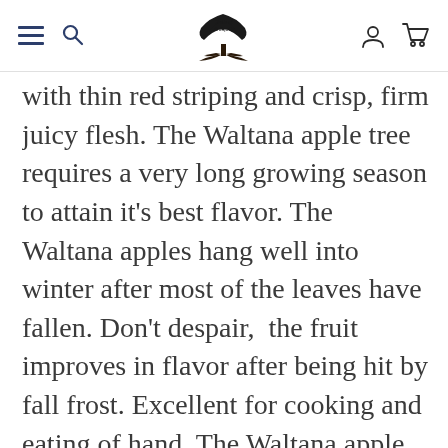[Navigation header with hamburger menu, search icon, Trees of Antiquity logo, user icon, and cart icon]
with thin red striping and crisp, firm juicy flesh. The Waltana apple tree requires a very long growing season to attain it's best flavor. The Waltana apples hang well into winter after most of the leaves have fallen. Don't despair,  the fruit improves in flavor after being hit by fall frost. Excellent for cooking and eating of hand. The Waltana apple tree was named for Albert's brother Walter and his wife. Best for hot interior climates. Please see below for further insight on our heirloom apple tree Waltana and discover additional consideration for selecting the appropriate fruit trees to buy for your home and small